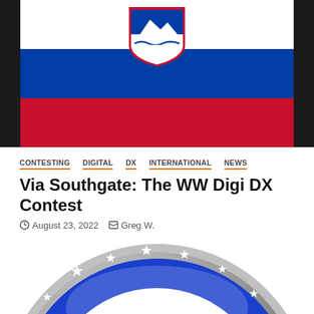[Figure (photo): Slovenian flag displayed on what appears to be a phone screen with a dark/black border. The flag has three horizontal stripes: white on top, blue in the middle, red on the bottom. The Slovenian coat of arms (shield with mountain and waves) is visible in the upper left area.]
CONTESTING   DIGITAL   DX   INTERNATIONAL   NEWS
Via Southgate: The WW Digi DX Contest
August 23, 2022   Greg W.
[Figure (photo): Ohio state flag or seal rendered as a glossy blue circular badge/button with white stars, a white circle, and a red circle in the center. Shown partially cropped at the bottom of the page.]